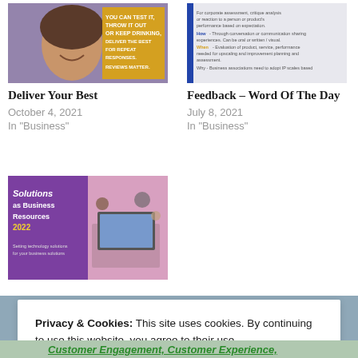[Figure (photo): Thumbnail image for 'Deliver Your Best' post — person smiling with yellow text overlay]
Deliver Your Best
October 4, 2021
In "Business"
[Figure (photo): Thumbnail image for 'Feedback – Word Of The Day' post — infographic with blue and yellow text]
Feedback – Word Of The Day
July 8, 2021
In "Business"
[Figure (photo): Thumbnail image for 'Solutions as Business Resources 2022' — purple and pink cover with laptop on desk]
Privacy & Cookies: This site uses cookies. By continuing to use this website, you agree to their use.
To find out more, including how to control cookies, see here: Cookie Policy
Close and accept
Customer Engagement, Customer Experience,